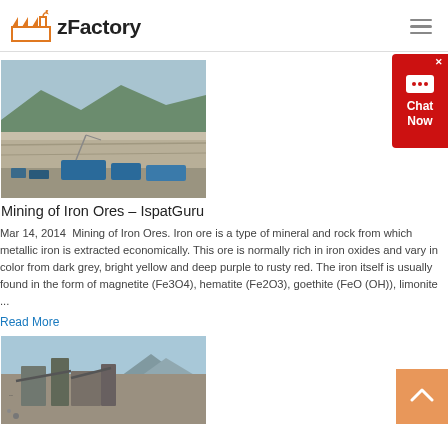zFactory
[Figure (photo): Open pit mining site with heavy machinery and blue equipment on rocky terrain]
Mining of Iron Ores – IspatGuru
Mar 14, 2014  Mining of Iron Ores. Iron ore is a type of mineral and rock from which metallic iron is extracted economically. This ore is normally rich in iron oxides and vary in color from dark grey, bright yellow and deep purple to rusty red. The iron itself is usually found in the form of magnetite (Fe3O4), hematite (Fe2O3), goethite (FeO (OH)), limonite ...
Read More
[Figure (photo): Mining equipment and processing facility with mountains in background]